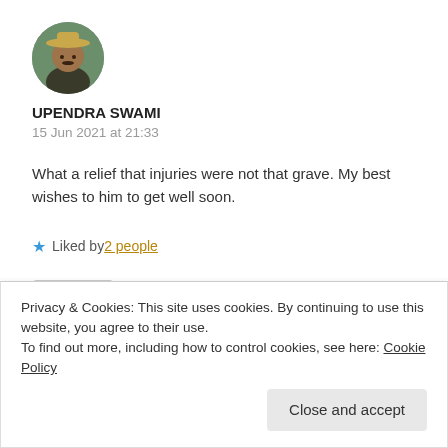[Figure (photo): Circular avatar photo of a person wearing a cowboy hat, outdoors background]
UPENDRA SWAMI
15 Jun 2021 at 21:33
What a relief that injuries were not that grave. My best wishes to him to get well soon.
★ Liked by 2 people
Reply
Privacy & Cookies: This site uses cookies. By continuing to use this website, you agree to their use.
To find out more, including how to control cookies, see here: Cookie Policy
Close and accept